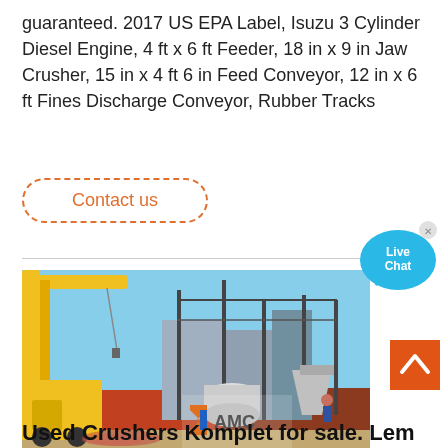guaranteed. 2017 US EPA Label, Isuzu 3 Cylinder Diesel Engine, 4 ft x 6 ft Feeder, 18 in x 9 in Jaw Crusher, 15 in x 4 ft 6 in Feed Conveyor, 12 in x 6 ft Fines Discharge Conveyor, Rubber Tracks
[Figure (other): Contact us button with dashed orange rounded border]
[Figure (photo): Construction site photo showing a yellow crane and heavy machinery with AMC logo overlay]
[Figure (other): Live Chat speech bubble widget in blue]
[Figure (other): Back to top orange button with upward chevron arrow]
Used Crushers Komplet for sale. Lem